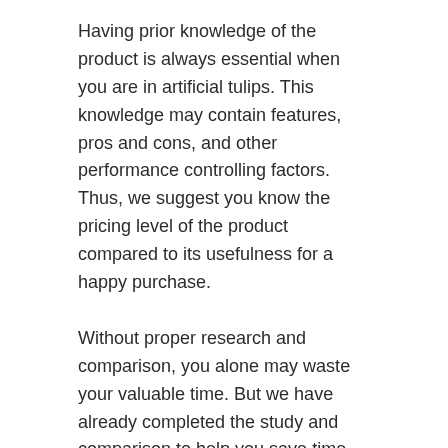Having prior knowledge of the product is always essential when you are in artificial tulips. This knowledge may contain features, pros and cons, and other performance controlling factors. Thus, we suggest you know the pricing level of the product compared to its usefulness for a happy purchase.
Without proper research and comparison, you alone may waste your valuable time. But we have already completed the study and comparison to help you save time for other chores. You can buy the right artificial tulips within the shortest possible time without losing the performance selected from our list.